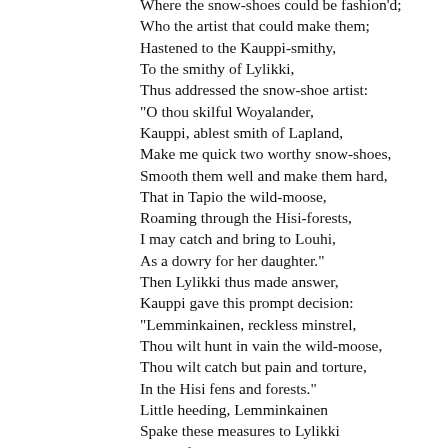Where the snow-shoes could be fashion'd;
Who the artist that could make them;
Hastened to the Kauppi-smithy,
To the smithy of Lylikki,
Thus addressed the snow-shoe artist:
"O thou skilful Woyalander,
Kauppi, ablest smith of Lapland,
Make me quick two worthy snow-shoes,
Smooth them well and make them hard,
That in Tapio the wild-moose,
Roaming through the Hisi-forests,
I may catch and bring to Louhi,
As a dowry for her daughter."
Then Lylikki thus made answer,
Kauppi gave this prompt decision:
"Lemminkainen, reckless minstrel,
Thou wilt hunt in vain the wild-moose,
Thou wilt catch but pain and torture,
In the Hisi fens and forests."
Little heeding, Lemminkainen
Spake these measures to Lylikki
"Make for me the worthy snow-shoes,
Quickly work and make them ready;
Go I will and catch the blue-moose
Where in Tapio it browses,
In the Hisi woods and snow-fields."